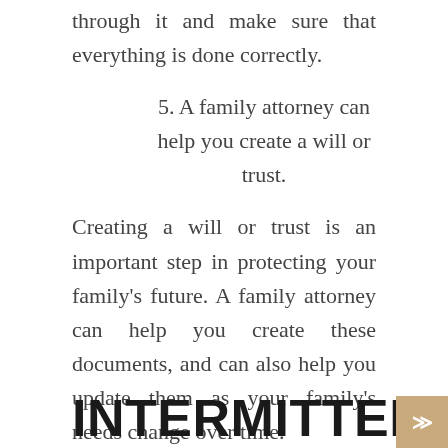through it and make sure that everything is done correctly.
5. A family attorney can help you create a will or trust.
Creating a will or trust is an important step in protecting your family’s future. A family attorney can help you create these documents, and can also help you update them as your family’s needs change over time.
CONTINUE READING »
INTERMITTENT